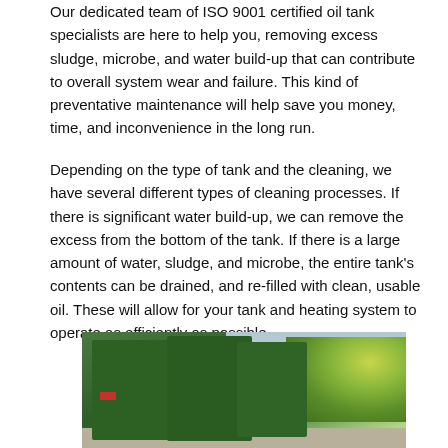Our dedicated team of ISO 9001 certified oil tank specialists are here to help you, removing excess sludge, microbe, and water build-up that can contribute to overall system wear and failure. This kind of preventative maintenance will help save you money, time, and inconvenience in the long run.
Depending on the type of tank and the cleaning, we have several different types of cleaning processes. If there is significant water build-up, we can remove the excess from the bottom of the tank. If there is a large amount of water, sludge, and microbe, the entire tank's contents can be drained, and re-filled with clean, usable oil. These will allow for your tank and heating system to operate as efficiently as possible.
[Figure (photo): Photograph of green oil storage tanks outdoors with foliage and gravel ground visible in the background]